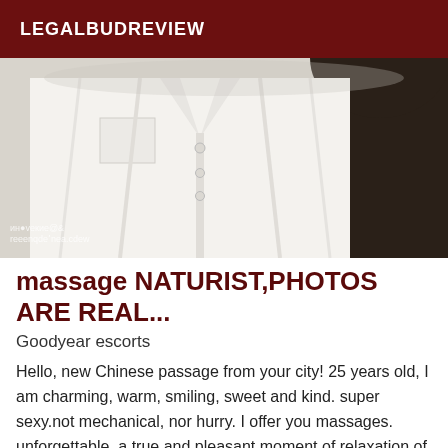LEGALBUDREVIEW
[Figure (photo): Close-up photo of a person wearing a white button-up shirt with a chest pocket, with dark hair visible on the right side. Watermark text visible at bottom left.]
massage NATURIST,PHOTOS ARE REAL...
Goodyear escorts
Hello, new Chinese passage from your city! 25 years old, I am charming, warm, smiling, sweet and kind. super sexy.not mechanical, nor hurry. I offer you massages. unforgettable, a true and pleasant moment of relaxation of softness. full of charme.je vous recois dans